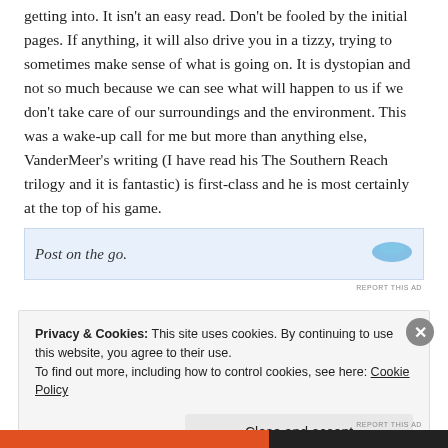getting into. It isn't an easy read. Don't be fooled by the initial pages. If anything, it will also drive you in a tizzy, trying to sometimes make sense of what is going on. It is dystopian and not so much because we can see what will happen to us if we don't take care of our surroundings and the environment. This was a wake-up call for me but more than anything else, VanderMeer's writing (I have read his The Southern Reach trilogy and it is fantastic) is first-class and he is most certainly at the top of his game.
[Figure (screenshot): Partially visible advertisement bar with italic text 'Post on the go.' and a blue icon on the right, with 'REPORT THIS AD' label below]
Privacy & Cookies: This site uses cookies. By continuing to use this website, you agree to their use.
To find out more, including how to control cookies, see here: Cookie Policy
Close and accept